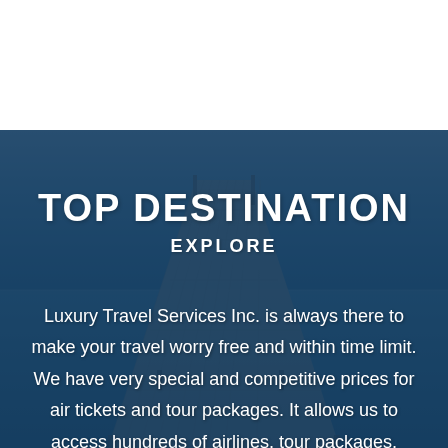[Figure (photo): A wooden dock/pier extending into a calm blue ocean or lake, viewed in perspective. The upper portion of the page is white. The lower portion shows the dock scene with a dark blue semi-transparent overlay. White text overlaid reading 'TOP DESTINATION' and 'EXPLORE' followed by descriptive paragraph text.]
TOP DESTINATION
EXPLORE
Luxury Travel Services Inc. is always there to make your travel worry free and within time limit. We have very special and competitive prices for air tickets and tour packages. It allows us to access hundreds of airlines, tour packages, cruises, hotels and car rental services.